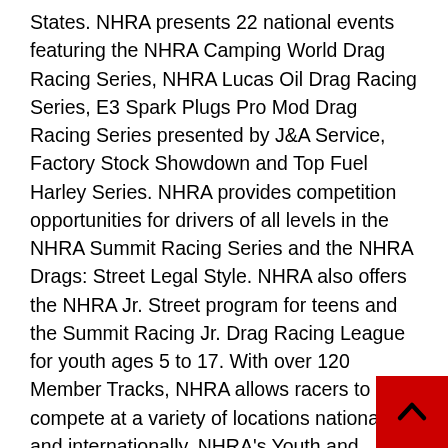States. NHRA presents 22 national events featuring the NHRA Camping World Drag Racing Series, NHRA Lucas Oil Drag Racing Series, E3 Spark Plugs Pro Mod Drag Racing Series presented by J&A Service, Factory Stock Showdown and Top Fuel Harley Series. NHRA provides competition opportunities for drivers of all levels in the NHRA Summit Racing Series and the NHRA Drags: Street Legal Style. NHRA also offers the NHRA Jr. Street program for teens and the Summit Racing Jr. Drag Racing League for youth ages 5 to 17. With over 120 Member Tracks, NHRA allows racers to compete at a variety of locations nationally and internationally. NHRA's Youth and Education Services (YES) Program reaches over 30,000 students annually to ignite their interest in automotive and racing related careers. NHRA's streaming service, NHRA.tv, allows fans to view all NHRA national events as well as exclusive features of the sport. In addition, NHRA owns and operates four racing facilities: Atlanta Dragway in Georgia; Gainesville Raceway in Florida; Lucas Oil Raceway at Indianapolis; and Auto Club Raceway at Pomona in Southern California. For more
[Figure (other): Back to top button — red square with upward-pointing arrow chevron]